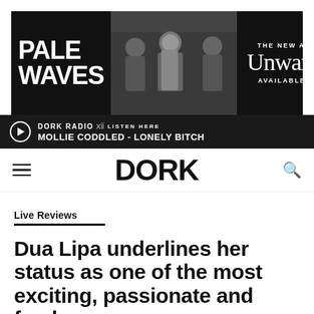[Figure (illustration): Pale Waves band advertisement banner in black and white. Left side shows 'PALE WAVES' in large bold text, center shows a photo of the band members, right side shows 'THE NEW ALBUM Unwanted AVAILABLE NOW']
DORK RADIO LISTEN HERE
MOLLIE CODDLED - LONELY BITCH
DORK
Live Reviews
Dua Lipa underlines her status as one of the most exciting, passionate and fearless